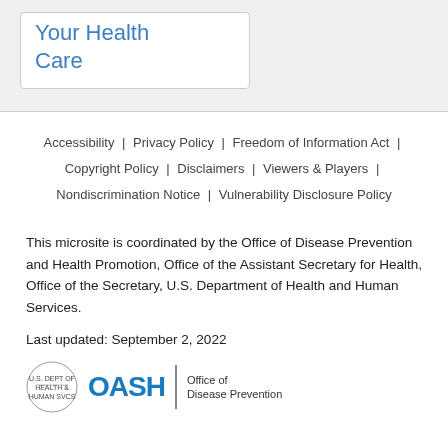Your Health Care
Accessibility | Privacy Policy | Freedom of Information Act | Copyright Policy | Disclaimers | Viewers & Players | Nondiscrimination Notice | Vulnerability Disclosure Policy
This microsite is coordinated by the Office of Disease Prevention and Health Promotion, Office of the Assistant Secretary for Health, Office of the Secretary, U.S. Department of Health and Human Services.
Last updated: September 2, 2022
[Figure (logo): HHS and OASH (Office of Disease Prevention) logos]